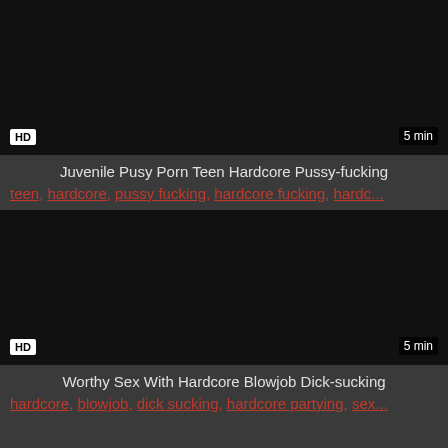[Figure (screenshot): Dark video thumbnail with HD badge and 5 min duration label]
Juvenile Pusy Porn Teen Hardcore Pussy-fucking
teen, hardcore, pussy fucking, hardcore fucking, hardc...
[Figure (screenshot): Dark video thumbnail with HD badge and 5 min duration label]
Worthy Sex With Hardcore Blowjob Dick-sucking
hardcore, blowjob, dick sucking, hardcore partying, sex...